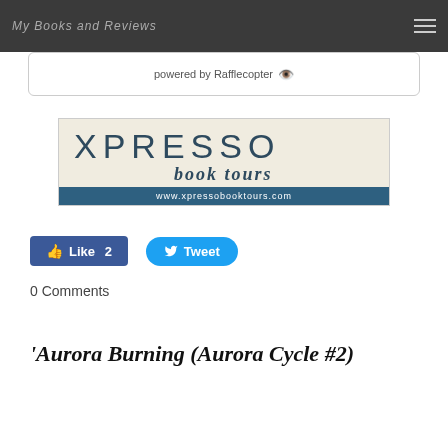My Books and Reviews
powered by Rafflecopter
[Figure (logo): Xpresso Book Tours logo with www.xpressobooktours.com URL bar]
Like 2  Tweet
0 Comments
'Aurora Burning (Aurora Cycle #2)